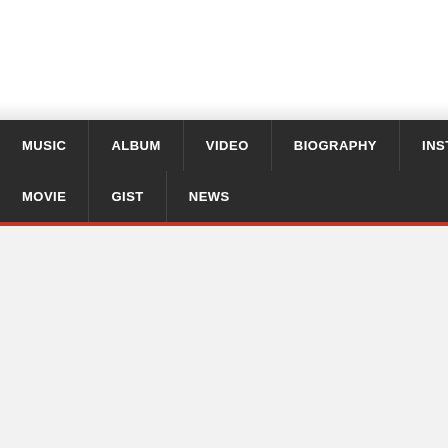[Figure (screenshot): Navigation menu bar with dark background containing menu items: MUSIC, ALBUM, VIDEO, BIOGRAPHY, INSTRUMENTAL (first row) and MOVIE, GIST, NEWS (second row), with a red bottom border]